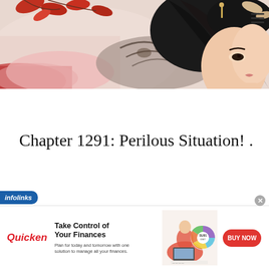[Figure (illustration): Anime-style illustration of a woman with black hair, red/autumn leaves, and a dragon tattoo on her arm, lying down on a light background. Hamburger menu icon in top right corner.]
Chapter 1291: Perilous Situation! .
[Figure (infographic): Infolinks advertisement banner featuring Quicken software. Headline: 'Take Control of Your Finances'. Subtext: 'Plan for today and tomorrow with one solution to manage all your finances.' Shows a woman working on laptop with a colorful donut chart. BUY NOW button in red.]